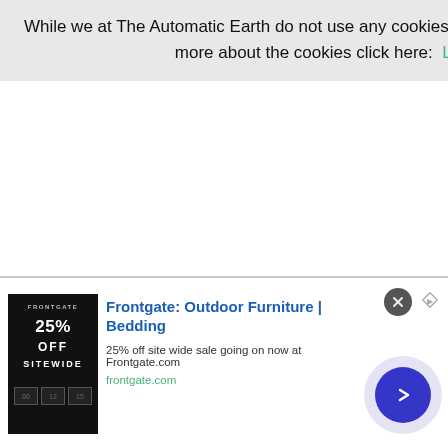While we at The Automatic Earth do not use any cookies, some of our third party applications do. To learn more about the cookies click here:  Learn More   Accept Cookies
[Figure (other): Advertisement for Frontgate: Outdoor Furniture | Bedding. Shows a dark banner ad with product image on left (showing 25% OFF SITEWIDE sale), bold blue title text, description '25% off site wide sale going on now at Frontgate.com', and green URL 'frontgate.com'. Includes a close X button and navigation arrow circle button.]